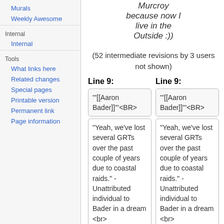Murals
Weekly Awesome
Internal
Internal
Tools
What links here
Related changes
Special pages
Printable version
Permanent link
Page information
Murcroy because now I live in the Outside :))
(52 intermediate revisions by 3 users not shown)
Line 9:
Line 9:
'''[[Aaron Bader]]'''<BR>
'''[[Aaron Bader]]'''<BR>
"Yeah, we've lost several GRTs over the past couple of years due to coastal raids." - Unattributed individual to Bader in a dream <br>
"Yeah, we've lost several GRTs over the past couple of years due to coastal raids." - Unattributed individual to Bader in a dream <br>